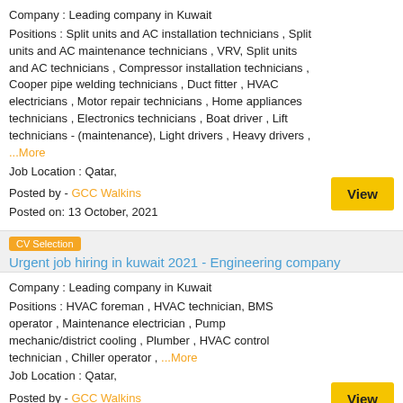Company : Leading company in Kuwait
Positions : Split units and AC installation technicians , Split units and AC maintenance technicians , VRV, Split units and AC technicians , Compressor installation technicians , Cooper pipe welding technicians , Duct fitter , HVAC electricians , Motor repair technicians , Home appliances technicians , Electronics technicians , Boat driver , Lift technicians - (maintenance), Light drivers , Heavy drivers , ...More
Job Location : Qatar,
Posted by - GCC Walkins
Posted on: 13 October, 2021
CV Selection
Urgent job hiring in kuwait 2021 - Engineering company
Company : Leading company in Kuwait
Positions : HVAC foreman , HVAC technician, BMS operator , Maintenance electrician , Pump mechanic/district cooling , Plumber , HVAC control technician , Chiller operator , ...More
Job Location : Qatar,
Posted by - GCC Walkins
Posted on: 12 October, 2021
walk-in
Automobile jobs in kuwait 2021 - Al mishraq kuwait